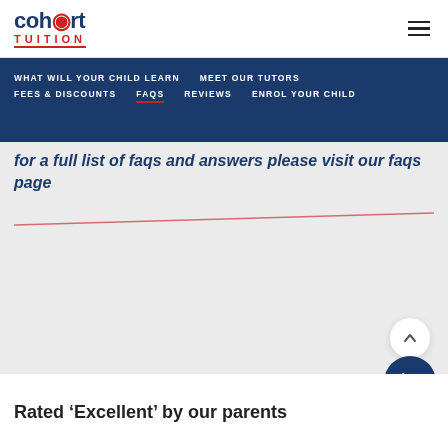cohort TUITION
WHAT WILL YOUR CHILD LEARN  MEET OUR TUTORS  FEES & DISCOUNTS  FAQS  REVIEWS  ENROL YOUR CHILD
for a full list of faqs and answers please visit our faqs page
Rated ‘Excellent’ by our parents